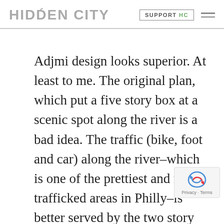HIDDEN CITY   SUPPORT HC
Adjmi design looks superior. At least to me. The original plan, which put a five story box at a scenic spot along the river is a bad idea. The traffic (bike, foot and car) along the river–which is one of the prettiest and most trafficked areas in Philly–is better served by the two story facade on Kelly Dr. It seems the author is just interested in looking inward. The design particularly for this spot–shou